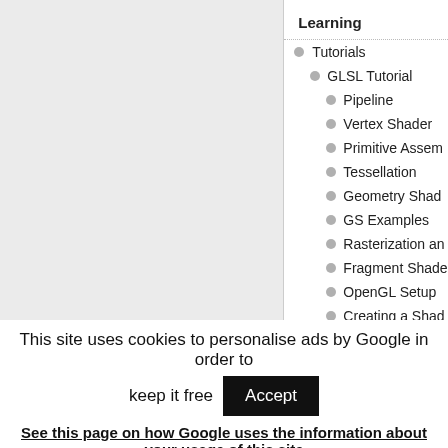Learning
Tutorials
GLSL Tutorial
Pipeline
Vertex Shader
Primitive Assem...
Tessellation
Geometry Shade...
GS Examples
Rasterization an...
Fragment Shade...
OpenGL Setup
Creating a Shad...
Creating a Prog...
This site uses cookies to personalise ads by Google in order to keep it free
See this page on how Google uses the information about your usage of this site